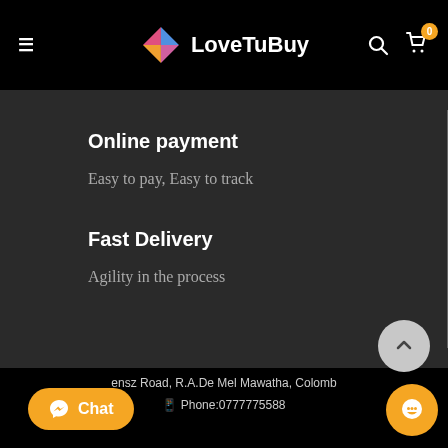LoveTuBuy
Online payment
Easy to pay, Easy to track
Fast Delivery
Agility in the process
ensz Road, R.A.De Mel Mawatha, Colomb
Phone:0777775588